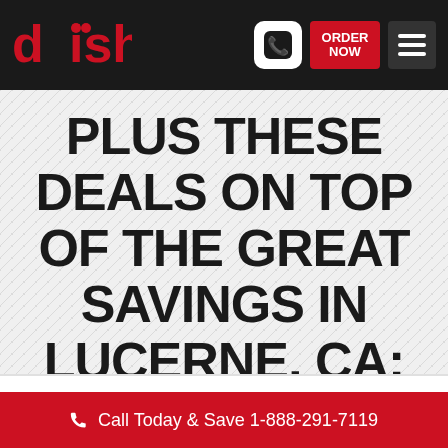[Figure (logo): DISH Network logo in red and white on black header bar with phone icon, ORDER NOW button in red, and hamburger menu icon]
PLUS THESE DEALS ON TOP OF THE GREAT SAVINGS IN LUCERNE, CA:
FREE DISH INSTALLATION IN
Call Today & Save 1-888-291-7119